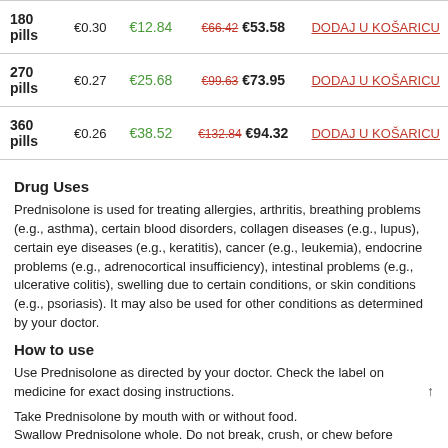| Quantity | Per pill | Savings | Price | Action |
| --- | --- | --- | --- | --- |
| 180 pills | €0.30 | €12.84 | €66.42 €53.58 | DODAJ U KOŠARICU |
| 270 pills | €0.27 | €25.68 | €99.63 €73.95 | DODAJ U KOŠARICU |
| 360 pills | €0.26 | €38.52 | €132.84 €94.32 | DODAJ U KOŠARICU |
Drug Uses
Prednisolone is used for treating allergies, arthritis, breathing problems (e.g., asthma), certain blood disorders, collagen diseases (e.g., lupus), certain eye diseases (e.g., keratitis), cancer (e.g., leukemia), endocrine problems (e.g., adrenocortical insufficiency), intestinal problems (e.g., ulcerative colitis), swelling due to certain conditions, or skin conditions (e.g., psoriasis). It may also be used for other conditions as determined by your doctor.
How to use
Use Prednisolone as directed by your doctor. Check the label on medicine for exact dosing instructions.
Take Prednisolone by mouth with or without food.
Swallow Prednisolone whole. Do not break, crush, or chew before
Swallow Prednisolone whole. Do not break, crush, or chew before